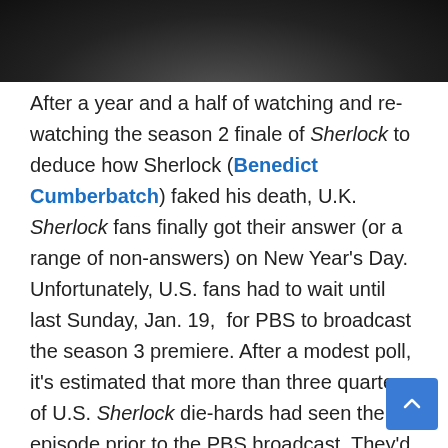[Figure (photo): Dark grayscale photo showing a person in a dark jacket/coat, cropped to show mostly torso/chest area]
After a year and a half of watching and re-watching the season 2 finale of Sherlock to deduce how Sherlock (Benedict Cumberbatch) faked his death, U.K. Sherlock fans finally got their answer (or a range of non-answers) on New Year’s Day. Unfortunately, U.S. fans had to wait until last Sunday, Jan. 19, for PBS to broadcast the season 3 premiere. After a modest poll, it’s estimated that more than three quarters of U.S. Sherlock die-hards had seen the episode prior to the PBS broadcast. They’d “pre-watched” it by downloading or streaming off the internet or by buying the DVD from outside their territory.